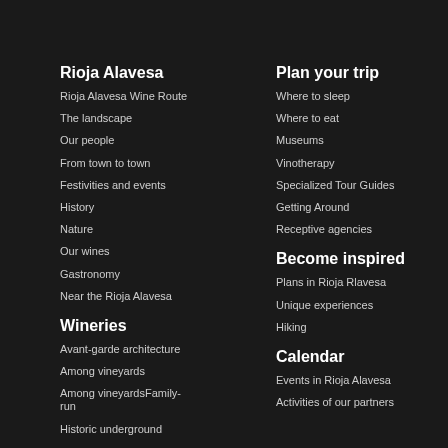Rioja Alavesa
Rioja Alavesa Wine Route
The landscape
Our people
From town to town
Festivities and events
History
Nature
Our wines
Gastronomy
Near the Rioja Alavesa
Wineries
Avant-garde architecture
Among vineyards
Among vineyardsFamily-run
Historic underground
Plan your trip
Where to sleep
Where to eat
Museums
Vinotherapy
Specialized Tour Guides
Getting Around
Receptive agencies
Become inspired
Plans in Rioja Rlavesa
Unique experiences
Hiking
Calendar
Events in Rioja Alavesa
Activities of our partners